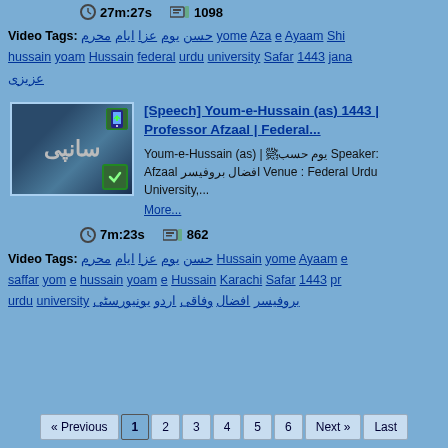27m:27s  1098
Video Tags: حسن یوم عزا ایام محرم yome Aza e Ayaam Shi hussain yoam Hussain federal urdu university Safar 1443 jana عزیزی
[Figure (screenshot): Video thumbnail showing a man with green mask speaking at a podium with Urdu text banner in background]
[Speech] Youm-e-Hussain (as) 1443 | Professor Afzaal | Federal...
Youm-e-Hussain (as) | یوم حسبﷺ Speaker: Afzaal افضال بروفیسر Venue : Federal Urdu University,... More...
7m:23s  862
Video Tags: حسن یوم عزا ایام محرم Hussain yome Ayaam e saffar yom e hussain yoam e Hussain Karachi Safar 1443 pr urdu university بروفیسر افضال وفاقی اردو یونیورسٹی
« Previous  1  2  3  4  5  6  Next »  Last